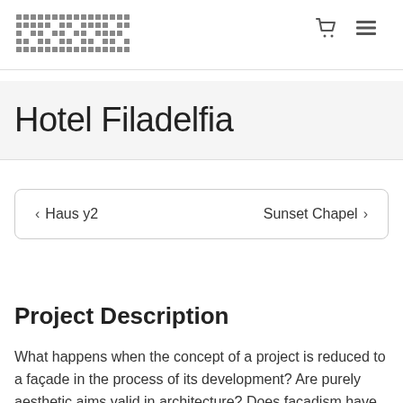ARCHIPENDIUM [logo] [cart icon] [menu icon]
Hotel Filadelfia
< Haus y2    Sunset Chapel >
Project Description
What happens when the concept of a project is reduced to a façade in the process of its development? Are purely aesthetic aims valid in architecture? Does facadism have any value? Are we